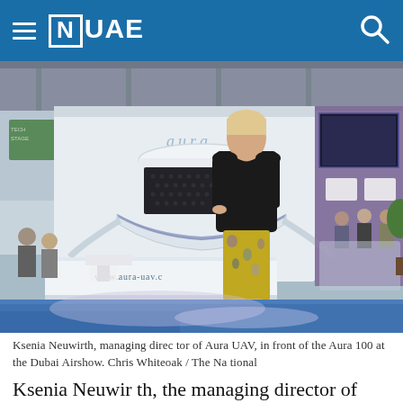≡ [N] UAE
[Figure (photo): Ksenia Neuwirth, managing director of Aura UAV, standing in front of the Aura 100 drone at the Dubai Airshow exhibition hall. White booth with 'aura' branding and honeycomb panel visible. URL www.aura-uav.c visible on counter. Blue exhibition floor and various booths in background.]
Ksenia Neuwirth, managing director of Aura UAV, in front of the Aura 100 at the Dubai Airshow. Chris Whiteoak / The National
Ksenia Neuwirth, the managing director of Aura UAV, said its aerial machines could be used in a variety of sectors, as they could